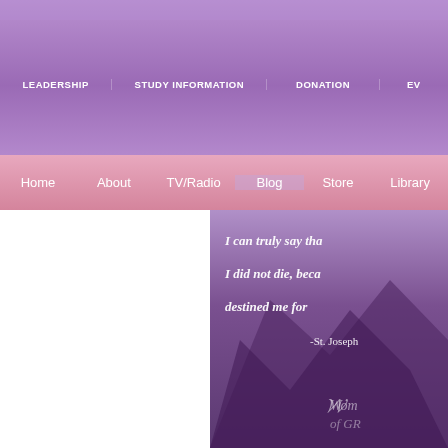LEADERSHIP | STUDY INFORMATION | DONATION | EV...
Home | About | TV/Radio | Blog | Store | Library...
[Figure (photo): Purple mountain background with white italic quote text: 'I can truly say tha... I did not die, beca... destined me for...' attributed to -St. Joseph... with Women of Grace logo in bottom right corner]
It is natural to express thanksgiving for being released from... for those who cause such difficult trials or circumstances? T... Josephine Bakhita was made.
Read the rest... →
Posted in Current Events, Johnnette's Blog, Saint Days and Liturgic...